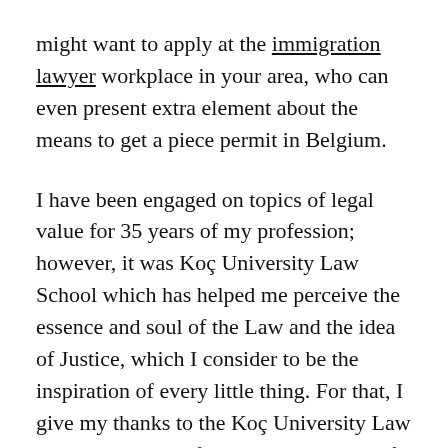might want to apply at the immigration lawyer workplace in your area, who can even present extra element about the means to get a piece permit in Belgium.
I have been engaged on topics of legal value for 35 years of my profession; however, it was Koç University Law School which has helped me perceive the essence and soul of the Law and the idea of Justice, which I consider to be the inspiration of every little thing. For that, I give my thanks to the Koç University Law Faculty, Dean Prof. With the expertise of over thirty years, Aksan nonetheless continues to rise and attempt for high quality. Bertil Emrah Oder, all my professors, faculty members and young legal professionals I really have been working along with. In this part we will clarify when and how one can apply for everlasting residency in Spain. You'll probably wish to relocate a team of gifted workers from your mother or father firm to provide your new